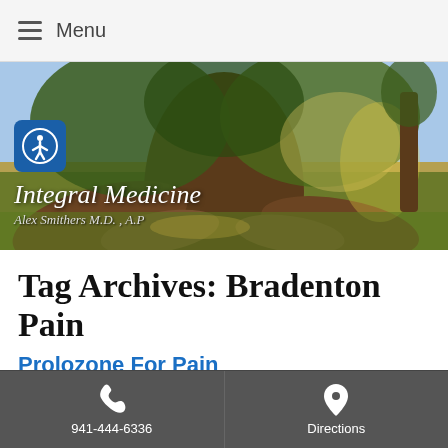Menu
[Figure (photo): Large tree with dramatic roots in a park setting, with overlay text 'Integral Medicine' and 'Alex Smithers M.D., A.P']
Tag Archives: Bradenton Pain
Prolozone For Pain
Prolozone Therapy What Is Prolozone Therapy?
941-444-6336   Directions